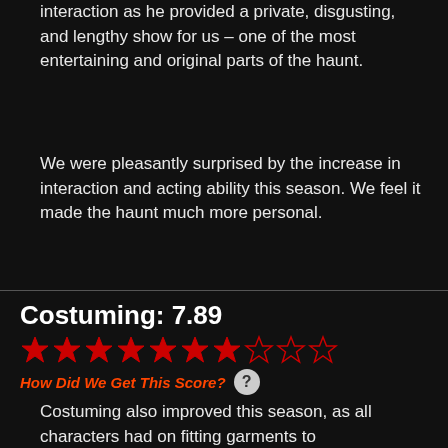interaction as he provided a private, disgusting, and lengthy show for us – one of the most entertaining and original parts of the haunt.
We were pleasantly surprised by the increase in interaction and acting ability this season. We feel it made the haunt much more personal.
Costuming: 7.89
[Figure (other): Star rating display showing 7.89 out of 10: 7 filled red stars and 3 empty stars]
How Did We Get This Score?
Costuming also improved this season, as all characters had on fitting garments to